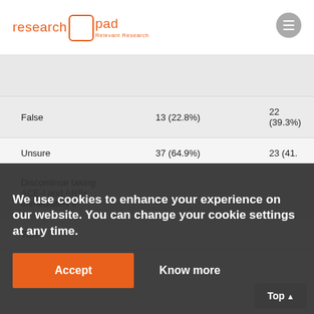research pad — Relevant Research
|  | Column A | Column B |
| --- | --- | --- |
| False | 13 (22.8%) | 22 (39.3%) |
| Unsure | 37 (64.9%) | 23 (41.%) |
| Discontinue taking ACE-I and ARBs immediately if |  |  |
| True |  |  |
We use cookies to enhance your experience on our website. You can change your cookie settings at any time.